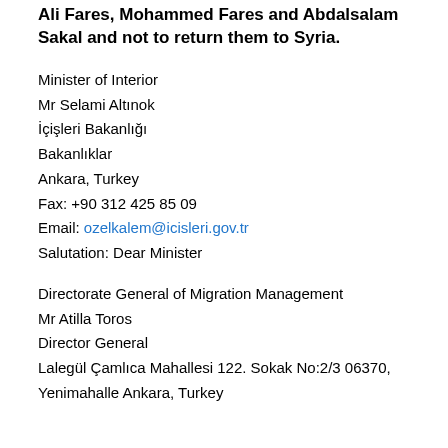Ali Fares, Mohammed Fares and Abdalsalam Sakal and not to return them to Syria.
Minister of Interior
Mr Selami Altınok
İçişleri Bakanlığı
Bakanlıklar
Ankara, Turkey
Fax: +90 312 425 85 09
Email: ozelkalem@icisleri.gov.tr
Salutation: Dear Minister
Directorate General of Migration Management
Mr Atilla Toros
Director General
Lalegül Çamlıca Mahallesi 122. Sokak No:2/3 06370,
Yenimahalle Ankara, Turkey